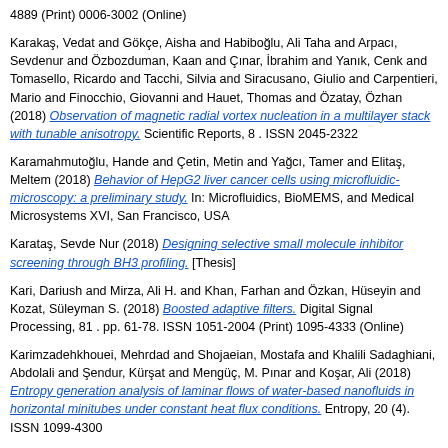4889 (Print) 0006-3002 (Online)
Karakaş, Vedat and Gökçe, Aisha and Habiboğlu, Ali Taha and Arpacı, Sevdenur and Özbozduman, Kaan and Çınar, İbrahim and Yanık, Cenk and Tomasello, Ricardo and Tacchi, Silvia and Siracusano, Giulio and Carpentieri, Mario and Finocchio, Giovanni and Hauet, Thomas and Özatay, Özhan (2018) Observation of magnetic radial vortex nucleation in a multilayer stack with tunable anisotropy. Scientific Reports, 8 . ISSN 2045-2322
Karamahmutoğlu, Hande and Çetin, Metin and Yağcı, Tamer and Elitaş, Meltem (2018) Behavior of HepG2 liver cancer cells using microfluidic-microscopy: a preliminary study. In: Microfluidics, BioMEMS, and Medical Microsystems XVI, San Francisco, USA
Karataş, Sevde Nur (2018) Designing selective small molecule inhibitor screening through BH3 profiling. [Thesis]
Kari, Dariush and Mirza, Ali H. and Khan, Farhan and Özkan, Hüseyin and Kozat, Süleyman S. (2018) Boosted adaptive filters. Digital Signal Processing, 81 . pp. 61-78. ISSN 1051-2004 (Print) 1095-4333 (Online)
Karimzadehkhouei, Mehrdad and Shojaeian, Mostafa and Khalili Sadaghiani, Abdolali and Şendur, Kürşat and Mengüç, M. Pınar and Koşar, Ali (2018) Entropy generation analysis of laminar flows of water-based nanofluids in horizontal minitubes under constant heat flux conditions. Entropy, 20 (4). ISSN 1099-4300
Kasap, Sibel and Kaya, İsmet İnönü (2018) γ-Fe2O3 nanoparçacık katkılı üç boyutlu grafen köpüklerin üretimi ve karakterizasyonu. Dokuz Eylül Üniversitesi Mühendislik Fakültesi - Fen ve Mühendislik Dergisi, 20 (60). pp. 743-754. ISSN 1302-9304 (Print) 2547-958X (Online)